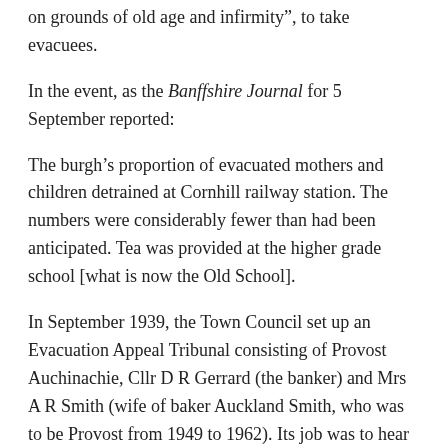on grounds of old age and infirmity”, to take evacuees.
In the event, as the Banffshire Journal for 5 September reported:
The burgh’s proportion of evacuated mothers and children detrained at Cornhill railway station. The numbers were considerably fewer than had been anticipated. Tea was provided at the higher grade school [what is now the Old School].
In September 1939, the Town Council set up an Evacuation Appeal Tribunal consisting of Provost Auchinachie, Cllr D R Gerrard (the banker) and Mrs A R Smith (wife of baker Auckland Smith, who was to be Provost from 1949 to 1962). Its job was to hear appeals from householders who had been selected to have evacuees billeted on them. In 1941 Cllr Gerrard and Mrs Smith resigned, being replaced by Mrs Drennt (Banffshire Journal Tom Gerrard) hon...